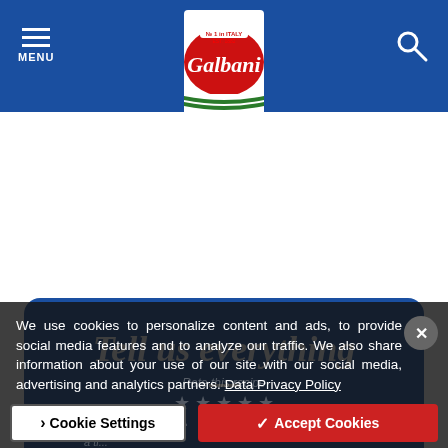[Figure (logo): Galbani brand logo - red oval with white script text 'Galbani', green and white ribbon below, 'No.1 in Italy Est. 1882' text at top, white background panel]
Tell us everything
We use cookies to personalize content and ads, to provide social media features and to analyze our traffic. We also share information about your use of our site with our social media, advertising and analytics partners. Data Privacy Policy
Cookie Settings
✓ Accept Cookies